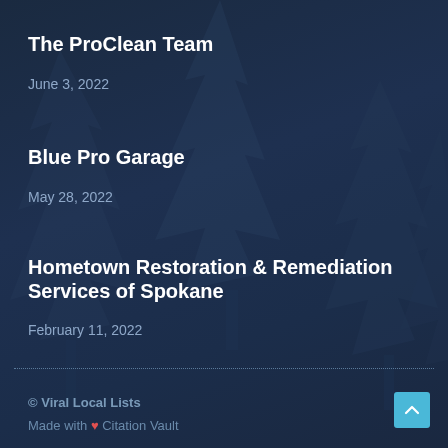The ProClean Team
June 3, 2022
Blue Pro Garage
May 28, 2022
Hometown Restoration & Remediation Services of Spokane
February 11, 2022
© Viral Local Lists
Made with ❤ Citation Vault